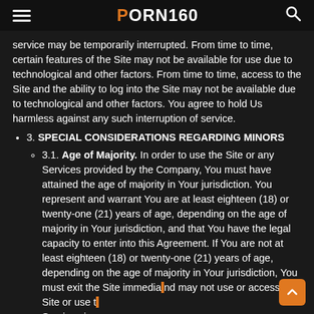PORN160
service may be temporarily interrupted. From time to time, certain features of the Site may not be available for use due to technological and other factors. From time to time, access to the Site and the ability to log into the Site may not be available due to technological and other factors. You agree to hold Us harmless against any such interruption of service.
3. SPECIAL CONSIDERATIONS REGARDING MINORS
3.1. Age of Majority. In order to use the Site or any Services provided by the Company, You must have attained the age of majority in Your jurisdiction. You represent and warrant You are at least eighteen (18) or twenty-one (21) years of age, depending on the age of majority in Your jurisdiction, and that You have the legal capacity to enter into this Agreement. If You are not at least eighteen (18) or twenty-one (21) years of age, depending on the age of majority in Your jurisdiction, You must exit the Site immediately and may not use or access the Site or use the Services in any manner.